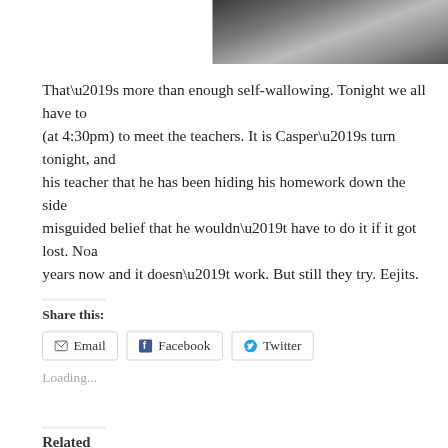[Figure (photo): Partial photo visible at top right, black and white/grayscale image, cropped]
That’s more than enough self-wallowing. Tonight we all have to (at 4:30pm) to meet the teachers. It is Casper’s turn tonight, and his teacher that he has been hiding his homework down the side misguided belief that he wouldn’t have to do it if it got lost. Noa years now and it doesn’t work. But still they try. Eejits.
Share this:
Email   Facebook   Twitter
Loading...
Related
Repulsive children who make me cry and who are   I Think We Ha